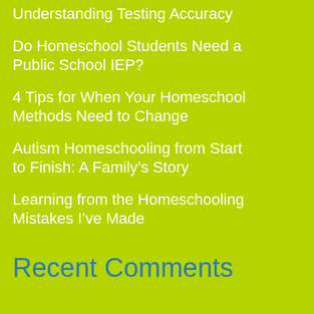Understanding Testing Accuracy
Do Homeschool Students Need a Public School IEP?
4 Tips for When Your Homeschool Methods Need to Change
Autism Homeschooling from Start to Finish: A Family’s Story
Learning from the Homeschooling Mistakes I’ve Made
Recent Comments